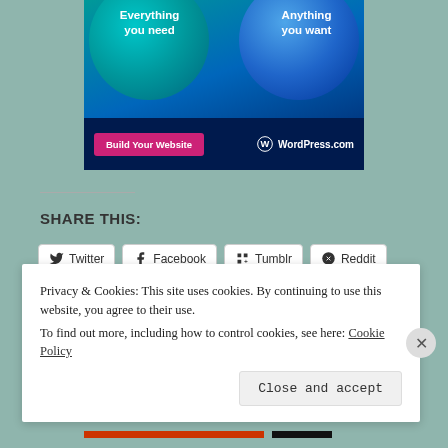[Figure (screenshot): WordPress.com advertisement banner with teal and blue overlapping circles, 'Everything you need' and 'Anything you want' text, pink 'Build Your Website' button, and WordPress.com logo on dark blue background]
SHARE THIS:
Twitter Facebook Tumblr Reddit (social share buttons)
Loading...
Privacy & Cookies: This site uses cookies. By continuing to use this website, you agree to their use.
To find out more, including how to control cookies, see here: Cookie Policy
Close and accept